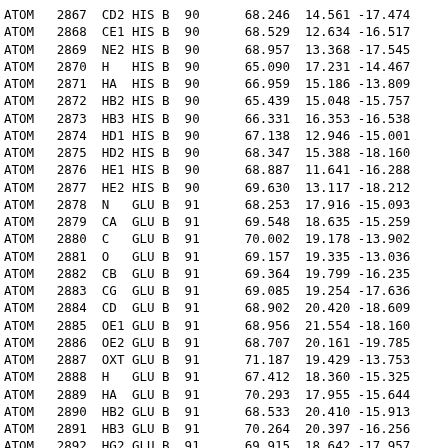| Type | Serial | Name | Res | Chain | ResSeq | X | Y | Z |
| --- | --- | --- | --- | --- | --- | --- | --- | --- |
| ATOM | 2867 | CD2 | HIS | B | 90 | 68.246 | 14.561 | -17.474 |
| ATOM | 2868 | CE1 | HIS | B | 90 | 68.529 | 12.634 | -16.517 |
| ATOM | 2869 | NE2 | HIS | B | 90 | 68.957 | 13.368 | -17.545 |
| ATOM | 2870 | H | HIS | B | 90 | 65.090 | 17.231 | -14.467 |
| ATOM | 2871 | HA | HIS | B | 90 | 66.959 | 15.186 | -13.809 |
| ATOM | 2872 | HB2 | HIS | B | 90 | 65.439 | 15.048 | -15.757 |
| ATOM | 2873 | HB3 | HIS | B | 90 | 66.331 | 16.353 | -16.538 |
| ATOM | 2874 | HD1 | HIS | B | 90 | 67.138 | 12.946 | -15.001 |
| ATOM | 2875 | HD2 | HIS | B | 90 | 68.347 | 15.388 | -18.160 |
| ATOM | 2876 | HE1 | HIS | B | 90 | 68.887 | 11.641 | -16.288 |
| ATOM | 2877 | HE2 | HIS | B | 90 | 69.630 | 13.117 | -18.212 |
| ATOM | 2878 | N | GLU | B | 91 | 68.253 | 17.916 | -15.093 |
| ATOM | 2879 | CA | GLU | B | 91 | 69.548 | 18.635 | -15.259 |
| ATOM | 2880 | C | GLU | B | 91 | 70.002 | 19.178 | -13.902 |
| ATOM | 2881 | O | GLU | B | 91 | 69.157 | 19.335 | -13.036 |
| ATOM | 2882 | CB | GLU | B | 91 | 69.364 | 19.799 | -16.235 |
| ATOM | 2883 | CG | GLU | B | 91 | 69.085 | 19.254 | -17.636 |
| ATOM | 2884 | CD | GLU | B | 91 | 68.902 | 20.420 | -18.609 |
| ATOM | 2885 | OE1 | GLU | B | 91 | 68.956 | 21.554 | -18.160 |
| ATOM | 2886 | OE2 | GLU | B | 91 | 68.707 | 20.161 | -19.785 |
| ATOM | 2887 | OXT | GLU | B | 91 | 71.187 | 19.429 | -13.753 |
| ATOM | 2888 | H | GLU | B | 91 | 67.412 | 18.360 | -15.325 |
| ATOM | 2889 | HA | GLU | B | 91 | 70.293 | 17.955 | -15.644 |
| ATOM | 2890 | HB2 | GLU | B | 91 | 68.533 | 20.410 | -15.913 |
| ATOM | 2891 | HB3 | GLU | B | 91 | 70.264 | 20.397 | -16.256 |
| ATOM | 2892 | HG2 | GLU | B | 91 | 69.915 | 18.642 | -17.957 |
| ATOM | 2893 | HG3 | GLU | B | 91 | 68.184 | 18.659 | -17.618 |
| TER | 2894 |  | GLU | B | 91 |  |  |  |
| ENDMDL |  |  |  |  |  |  |  |  |
| MODEL |  | 4 |  |  |  |  |  |  |